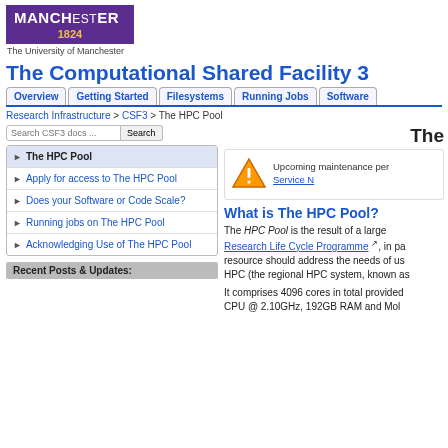[Figure (logo): University of Manchester logo with purple background, white MANCHESTER text, gold 1824, and subtitle 'The University of Manchester']
The Computational Shared Facility 3
Overview | Getting Started | Filesystems | Running Jobs | Software
Research Infrastructure > CSF3 > The HPC Pool
The HPC Pool
Apply for access to The HPC Pool
Does your Software or Code Scale?
Running jobs on The HPC Pool
Acknowledging Use of The HPC Pool
Recent Posts & Updates:
Upcoming maintenance per... Service N...
What is The HPC Pool?
The HPC Pool is the result of a large... Research Life Cycle Programme, in pa... resource should address the needs of us... HPC (the regional HPC system, known as...
It comprises 4096 cores in total provided... CPU @ 2.10GHz, 192GB RAM and Mol...